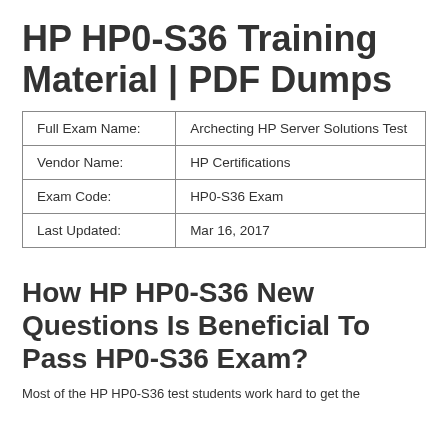HP HP0-S36 Training Material | PDF Dumps
| Full Exam Name: | Archecting HP Server Solutions Test |
| Vendor Name: | HP Certifications |
| Exam Code: | HP0-S36 Exam |
| Last Updated: | Mar 16, 2017 |
How HP HP0-S36 New Questions Is Beneficial To Pass HP0-S36 Exam?
Most of the HP HP0-S36 test students work hard to get the